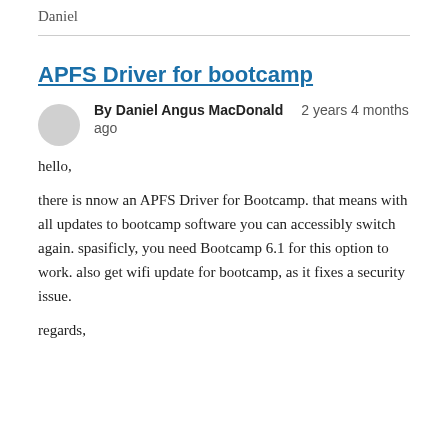Daniel
APFS Driver for bootcamp
By Daniel Angus MacDonald   2 years 4 months ago
hello,

there is nnow an APFS Driver for Bootcamp. that means with all updates to bootcamp software you can accessibly switch again. spasificly, you need Bootcamp 6.1 for this option to work. also get wifi update for bootcamp, as it fixes a security issue.
regards,